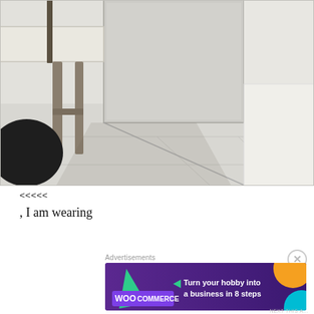[Figure (photo): Photo of a room interior showing a white table top on the left, a chair with bronze/tan metal legs, a large mirror or glass panel leaning against the wall, and a white tiled floor. A black rounded object is visible at the lower left.]
<<<<<
, I am wearing
Advertisements
[Figure (other): WooCommerce advertisement banner: 'Turn your hobby into a business in 8 steps' on a purple background with colorful geometric shapes.]